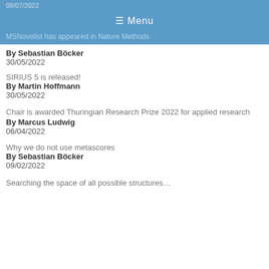08/07/2022
≡ Menu
MSNovelist has appeared in Nature Methods
By Sebastian Böcker
30/05/2022
SIRIUS 5 is released!
By Martin Hoffmann
30/05/2022
Chair is awarded Thuringian Research Prize 2022 for applied research
By Marcus Ludwig
06/04/2022
Why we do not use metascores
By Sebastian Böcker
09/02/2022